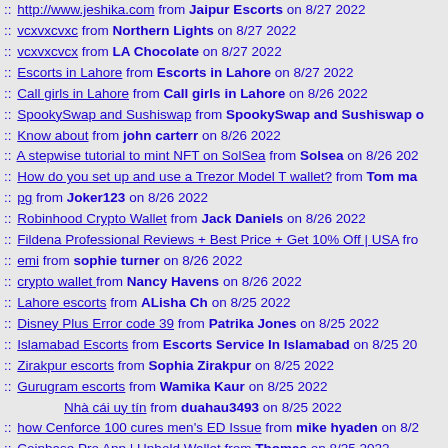:: http://www.jeshika.com from Jaipur Escorts on 8/27 2022
:: vcxvxcvxc from Northern Lights on 8/27 2022
:: vcxvxcvcx from LA Chocolate on 8/27 2022
:: Escorts in Lahore from Escorts in Lahore on 8/27 2022
:: Call girls in Lahore from Call girls in Lahore on 8/26 2022
:: SpookySwap and Sushiswap from SpookySwap and Sushiswap o...
:: Know about from john carterr on 8/26 2022
:: A stepwise tutorial to mint NFT on SolSea from Solsea on 8/26 202...
:: How do you set up and use a Trezor Model T wallet? from Tom ma...
:: pg from Joker123 on 8/26 2022
:: Robinhood Crypto Wallet from Jack Daniels on 8/26 2022
:: Fildena Professional Reviews + Best Price + Get 10% Off | USA fro...
:: emi from sophie turner on 8/26 2022
:: crypto wallet from Nancy Havens on 8/26 2022
:: Lahore escorts from ALisha Ch on 8/25 2022
:: Disney Plus Error code 39 from Patrika Jones on 8/25 2022
:: Islamabad Escorts from Escorts Service In Islamabad on 8/25 20...
:: Zirakpur escorts from Sophia Zirakpur on 8/25 2022
:: Gurugram escorts from Wamika Kaur on 8/25 2022
Nhà cái uy tín from duahau3493 on 8/25 2022
:: how Cenforce 100 cures men's ED Issue from mike hyaden on 8/2...
:: Coinbase Pro App | Uphold Wallet from Thomas on 8/25 2022
:: Aurogra Pills Is one Of the Best for Sexual treatments | USA from la...
:: SolSea | NFT Marketplace on Solana - SolSea from Solsea on 8/25...
:: fuhrerschein kaufen from hasen on 8/25 2022
:: godsofseo from godsofseo on 8/25 2022
:: fiftyshadesofseo from fiftyshadesofseo on 8/25 2022
:: Is it worth to learn Fashion Designing ? from MAithili Sharma on 8...
:: SpookySwap and Sushiswap from SpookySwap and Sushiswap o...
:: Bola Online from Exo88 on 8/25 2022
:: Agen Bola Terpercaya from Eucholaonline on 8/25 2022